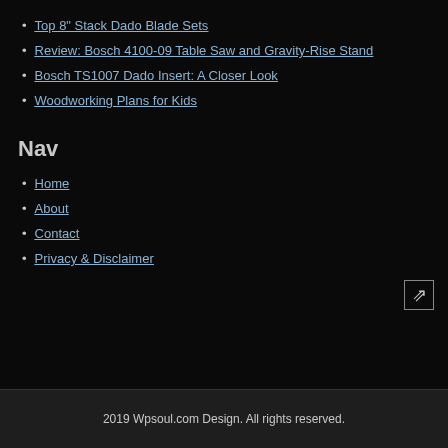Top 8" Stack Dado Blade Sets
Review: Bosch 4100-09 Table Saw and Gravity-Rise Stand
Bosch TS1007 Dado Insert: A Closer Look
Woodworking Plans for Kids
Nav
Home
About
Contact
Privacy & Disclaimer
2019 Wpsoul.com Design. All rights reserved.